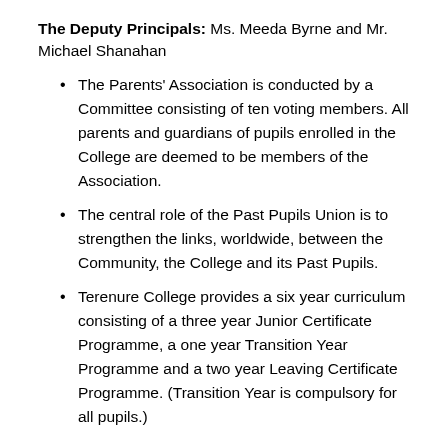The Deputy Principals: Ms. Meeda Byrne and Mr. Michael Shanahan
The Parents' Association is conducted by a Committee consisting of ten voting members. All parents and guardians of pupils enrolled in the College are deemed to be members of the Association.
The central role of the Past Pupils Union is to strengthen the links, worldwide, between the Community, the College and its Past Pupils.
Terenure College provides a six year curriculum consisting of a three year Junior Certificate Programme, a one year Transition Year Programme and a two year Leaving Certificate Programme. (Transition Year is compulsory for all pupils.)